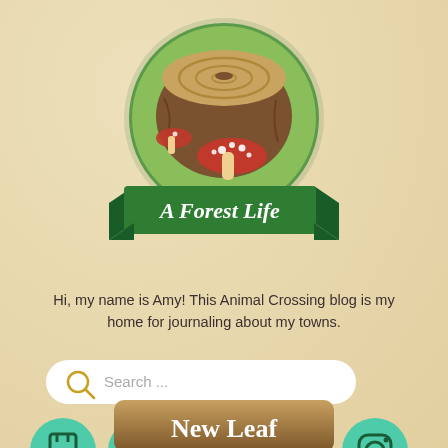[Figure (logo): A Forest Life blog logo: circular illustration of a tree stump with mushrooms, on a green banner ribbon that reads 'A Forest Life']
Hi, my name is Amy! This Animal Crossing blog is my home for journaling about my towns.
[Figure (other): Search bar with magnifying glass icon and placeholder text 'Search ...']
[Figure (other): Row of social media icon buttons (Twitch, Twitter, YouTube, Instagram, Instagram) on teal circular backgrounds]
[Figure (other): Single social media icon button (Tumblr) on teal circular background]
[Figure (other): Brown rounded button partially visible at bottom reading 'New Leaf']